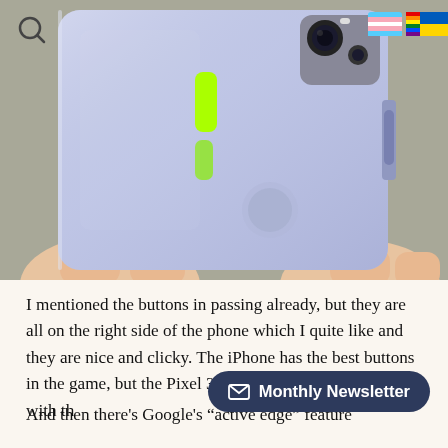[Figure (photo): Close-up photo of a light blue/purple smartphone (Google Pixel 3a) being held, showing the right side with volume/power buttons and a green highlight on the button area. The camera module is visible in the upper right.]
I mentioned the buttons in passing already, but they are all on the right side of the phone which I quite like and they are nice and clicky. The iPhone has the best buttons in the game, but the Pixel 3a has good buttons that hang with th
And then there's Google’s “active edge” feature which lets you trigger Google Assistant by...